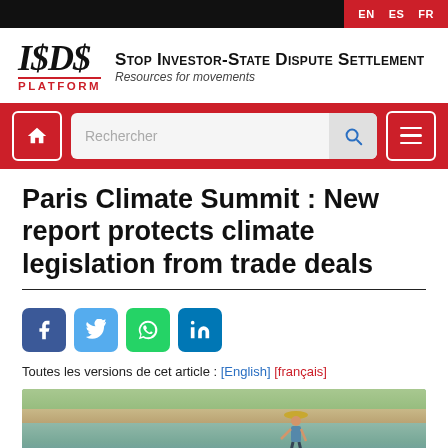EN  ES  FR
[Figure (logo): ISDS Platform logo with stylized '$' text and 'Stop Investor-State Dispute Settlement — Resources for movements' tagline]
[Figure (screenshot): Navigation bar with home button, search field with placeholder 'Rechercher', and hamburger menu button, all on red background]
Paris Climate Summit : New report protects climate legislation from trade deals
[Figure (infographic): Social share buttons: Facebook, Twitter, WhatsApp, LinkedIn]
Toutes les versions de cet article : [English] [français]
[Figure (photo): Person working near a body of water, wearing a hat, with sandy bank and green vegetation in the background]